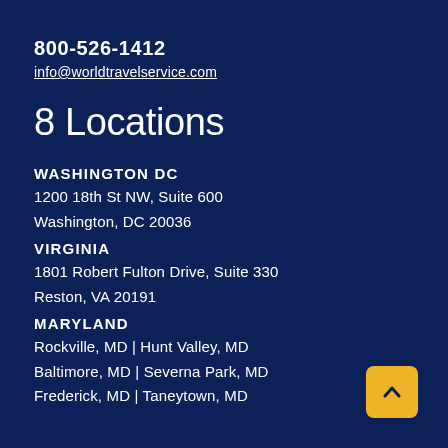800-526-1412
info@worldtravelservice.com
8 Locations
WASHINGTON DC
1200 18th St NW, Suite 600
Washington, DC 20036
VIRGINIA
1801 Robert Fulton Drive, Suite 330
Reston, VA 20191
MARYLAND
Rockville, MD | Hunt Valley, MD
Baltimore, MD | Severna Park, MD
Frederick, MD | Taneytown, MD